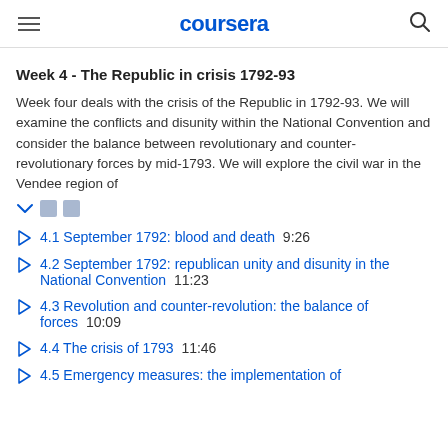coursera
Week 4 - The Republic in crisis 1792-93
Week four deals with the crisis of the Republic in 1792-93. We will examine the conflicts and disunity within the National Convention and consider the balance between revolutionary and counter-revolutionary forces by mid-1793. We will explore the civil war in the Vendee region of
4.1 September 1792: blood and death  9:26
4.2 September 1792: republican unity and disunity in the National Convention  11:23
4.3 Revolution and counter-revolution: the balance of forces  10:09
4.4 The crisis of 1793  11:46
4.5 Emergency measures: the implementation of